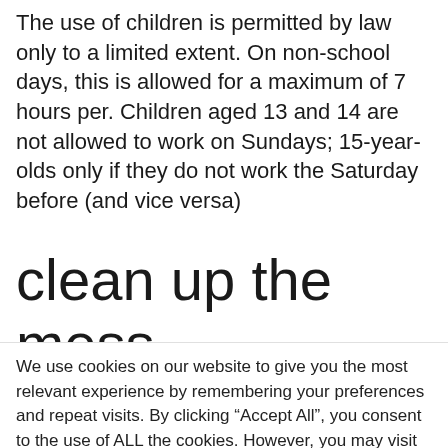The use of children is permitted by law only to a limited extent. On non-school days, this is allowed for a maximum of 7 hours per. Children aged 13 and 14 are not allowed to work on Sundays; 15-year-olds only if they do not work the Saturday before (and vice versa)
clean up the mess
We use cookies on our website to give you the most relevant experience by remembering your preferences and repeat visits. By clicking “Accept All”, you consent to the use of ALL the cookies. However, you may visit "Cookie Settings" to provide a controlled consent.